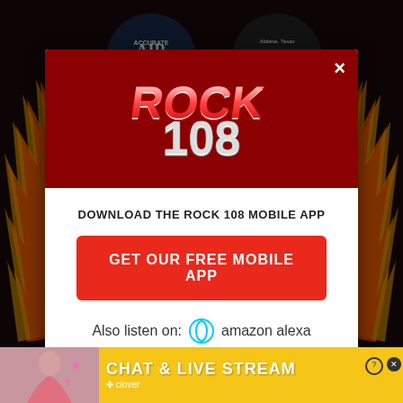[Figure (screenshot): Dark background with flame graphics and radio station logos for Accurate Air and Abilene Texas Cruise Night]
[Figure (logo): Rock 108 radio station logo in red and white on dark red background]
×
DOWNLOAD THE ROCK 108 MOBILE APP
GET OUR FREE MOBILE APP
Also listen on:  amazon alexa
[Figure (infographic): Chat & Live Stream advertisement banner with clover branding on yellow/gold background, with photo of woman at beach]